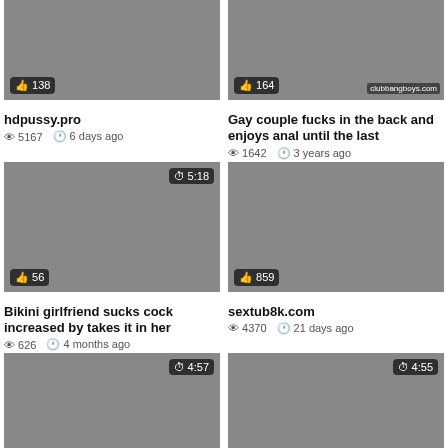[Figure (photo): Video thumbnail with like count 138]
hdpussy.pro
5167 views · 6 days ago
[Figure (photo): Video thumbnail with like count 164, clubbangboys.com watermark]
Gay couple fucks in the back and enjoys anal until the last
1642 views · 3 years ago
[Figure (photo): Video thumbnail 5:18 duration with like count 56]
Bikini girlfriend sucks cock increased by takes it in her
626 views · 4 months ago
[Figure (photo): Video thumbnail with like count 859]
sextub8k.com
4370 views · 21 days ago
[Figure (photo): Video thumbnail 4:57 duration with like count 154]
Great cuckold pleasures for insolent Diya Noir
[Figure (photo): Video thumbnail 4:55 duration with like count 86]
Tina Kay's hard dick fixation is fabulously captivating